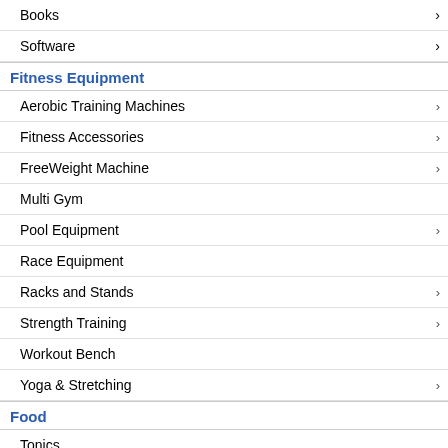Books
Software
Fitness Equipment
Aerobic Training Machines
Fitness Accessories
FreeWeight Machine
Multi Gym
Pool Equipment
Race Equipment
Racks and Stands
Strength Training
Workout Bench
Yoga & Stretching
Food
Tonics
Gifts
Cards
Gifts
Nylon b...
Electrost...
Extra-wi...
Thick ba...
Floor Area: 48" x
Max Weight Loa...
Pls note that the v...
Warranty: 10 yea...
If you are interes... Singapore 66926...
Assembly and de...
Customers Who Bought This Item Also B...
Composition Tracker Body Fat Tracking Software